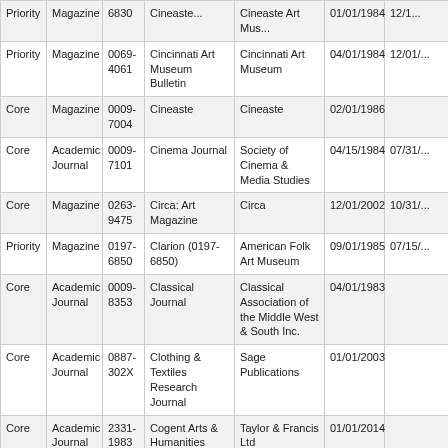| Priority | Magazine | ISSN | Title | Publisher | Start Date | End Date |
| --- | --- | --- | --- | --- | --- | --- |
| Priority | Magazine | 6830 | Cincinnati Art... | Cincinnati Art Museum... | 01/01/1984 | 12/1... |
| Priority | Magazine | 0069-4061 | Cincinnati Art Museum Bulletin | Cincinnati Art Museum | 04/01/1984 | 12/01/... |
| Core | Magazine | 0009-7004 | Cineaste | Cineaste | 02/01/1986 |  |
| Core | Academic Journal | 0009-7101 | Cinema Journal | Society of Cinema & Media Studies | 04/15/1984 | 07/31/... |
| Core | Magazine | 0263-9475 | Circa: Art Magazine | Circa | 12/01/2002 | 10/31/... |
| Priority | Magazine | 0197-6850 | Clarion (0197-6850) | American Folk Art Museum | 09/01/1985 | 07/15/... |
| Core | Academic Journal | 0009-8353 | Classical Journal | Classical Association of the Middle West & South Inc. | 04/01/1983 |  |
| Core | Academic Journal | 0887-302X | Clothing & Textiles Research Journal | Sage Publications | 01/01/2003 |  |
| Core | Academic Journal | 2331-1983 | Cogent Arts & Humanities | Taylor & Francis Ltd | 01/01/2014 |  |
| Core | Magazine | 0099-0086 | College & Research Libraries News | American Library Association | 10/01/1984 |  |
| Core | Magazine | 1087-9889 | Common Ground (10879889) | US Department of the Interior | 04/15/2005 | 09/30/... |
| Core | Magazine | 0010-3519 | Communication Arts | Coyne & Blanchard Inc. | 07/01/1984 |  |
| Priority | Magazine | 0069-8881 | Congres Archeologique de France | Societe Francaise d'Archeologie | 01/01/1980 | 01/01/... |